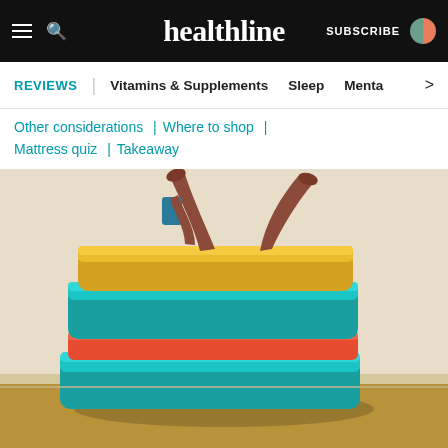healthline | SUBSCRIBE
REVIEWS | Vitamins & Supplements | Sleep | Menta >
Other considerations | Where to shop | Mattress quiz | Takeaway
[Figure (illustration): Illustration of a person lying on top of a stack of colorful mattresses (yellow, teal, red, teal layers) with legs raised and holding a phone, against a beige background.]
Illustrations by Wenzdai Figueroa